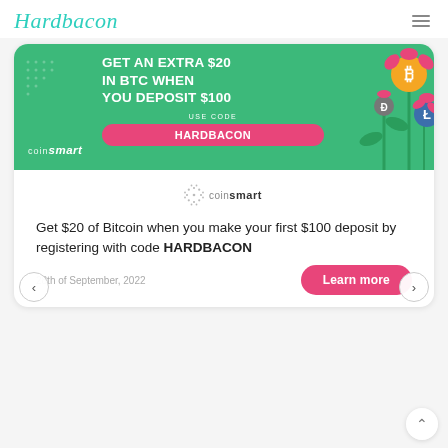Hardbacon
[Figure (illustration): CoinSmart advertisement banner on green background. Text reads: GET AN EXTRA $20 IN BTC WHEN YOU DEPOSIT $100. USE CODE: HARDBACON. Features cryptocurrency coin graphics and flower decorations.]
[Figure (logo): CoinSmart logo with circular dot pattern]
Get $20 of Bitcoin when you make your first $100 deposit by registering with code HARDBACON
28th of September, 2022